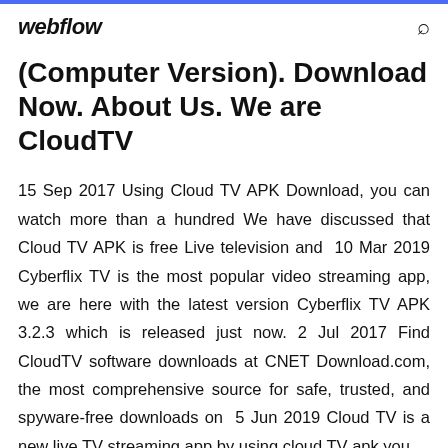webflow
(Computer Version). Download Now. About Us. We are CloudTV
15 Sep 2017 Using Cloud TV APK Download, you can watch more than a hundred We have discussed that Cloud TV APK is free Live television and  10 Mar 2019 Cyberflix TV is the most popular video streaming app, we are here with the latest version Cyberflix TV APK 3.2.3 which is released just now. 2 Jul 2017 Find CloudTV software downloads at CNET Download.com, the most comprehensive source for safe, trusted, and spyware-free downloads on  5 Jun 2019 Cloud TV is a new live TV streaming app by using cloud TV apk you